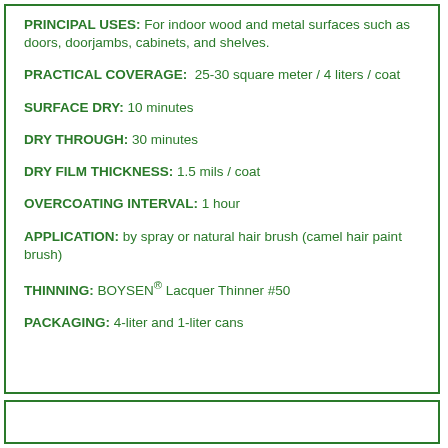PRINCIPAL USES: For indoor wood and metal surfaces such as doors, doorjambs, cabinets, and shelves.
PRACTICAL COVERAGE: 25-30 square meter / 4 liters / coat
SURFACE DRY: 10 minutes
DRY THROUGH: 30 minutes
DRY FILM THICKNESS: 1.5 mils / coat
OVERCOATING INTERVAL: 1 hour
APPLICATION: by spray or natural hair brush (camel hair paint brush)
THINNING: BOYSEN® Lacquer Thinner #50
PACKAGING: 4-liter and 1-liter cans